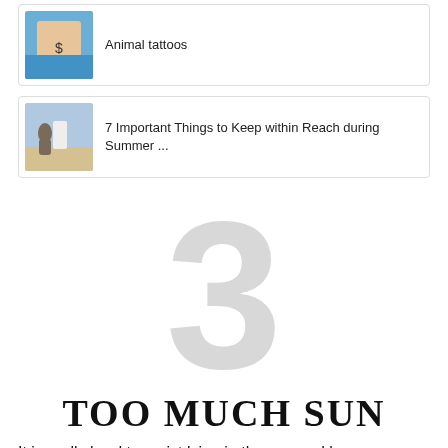[Figure (photo): Thumbnail image of a woman with a tattoo on her torso, wearing blue]
Animal tattoos
[Figure (photo): Thumbnail image of a person at a snowy or sandy outdoor location]
7 Important Things to Keep within Reach during Summer ...
3
TOO MUCH SUN
It is really hard to resist lying in the sun and bali...